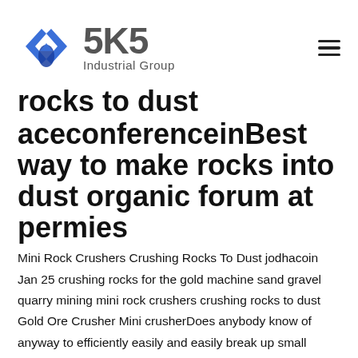[Figure (logo): SKS Industrial Group logo with angular diamond-shaped icon in blue and a hamburger menu icon on the right]
rocks to dust aceconferenceinBest way to make rocks into dust organic forum at permies
Mini Rock Crushers Crushing Rocks To Dust jodhacoin Jan 25 crushing rocks for the gold machine sand gravel quarry mining mini rock crushers crushing rocks to dust Gold Ore Crusher Mini crusherDoes anybody know of anyway to efficiently easily and easily break up small boulders/rocks into a fine dust I was looking to make some rock dust Seems a waste of energy to make rock dust it is a byproduct of many stone working jobs Got any